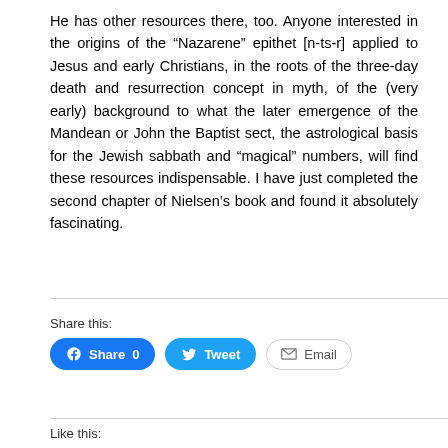He has other resources there, too. Anyone interested in the origins of the “Nazarene” epithet [n-ts-r] applied to Jesus and early Christians, in the roots of the three-day death and resurrection concept in myth, of the (very early) background to what the later emergence of the Mandean or John the Baptist sect, the astrological basis for the Jewish sabbath and “magical” numbers, will find these resources indispensable. I have just completed the second chapter of Nielsen’s book and found it absolutely fascinating.
Share this:
Facebook Share 0  Tweet  Email
Like this: